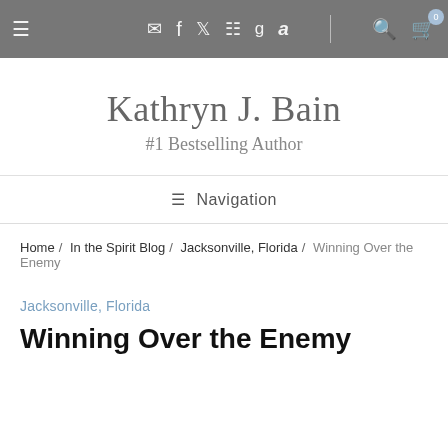≡ ✉ f ✦ ▤ g a | 🔍 🛒 0
Kathryn J. Bain
#1 Bestselling Author
≡ Navigation
Home / In the Spirit Blog / Jacksonville, Florida / Winning Over the Enemy
Jacksonville, Florida
Winning Over the Enemy